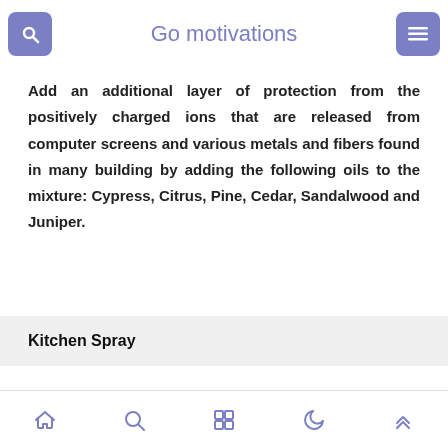Go motivations
Add an additional layer of protection from the positively charged ions that are released from computer screens and various metals and fibers found in many building by adding the following oils to the mixture: Cypress, Citrus, Pine, Cedar, Sandalwood and Juniper.
Kitchen Spray
This…
[navigation icons: home, search, grid, moon, up arrow]